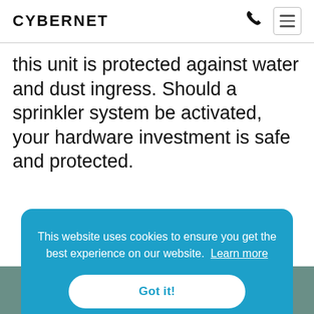CYBERNET
this unit is protected against water and dust ingress. Should a sprinkler system be activated, your hardware investment is safe and protected.
This website uses cookies to ensure you get the best experience on our website. Learn more Got it!